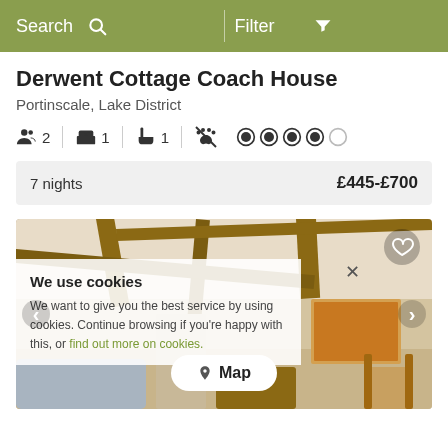Search  Filter
Derwent Cottage Coach House
Portinscale, Lake District
2 guests  1 bedroom  1 bathroom  no pets  4 star rating
| Nights | Price |
| --- | --- |
| 7 nights | £445-£700 |
[Figure (photo): Interior of Derwent Cottage Coach House showing exposed wooden beams on white ceiling, living area and dining area with wooden furniture, with a cookie consent overlay and a Map button visible.]
We use cookies
We want to give you the best service by using cookies. Continue browsing if you're happy with this, or find out more on cookies.